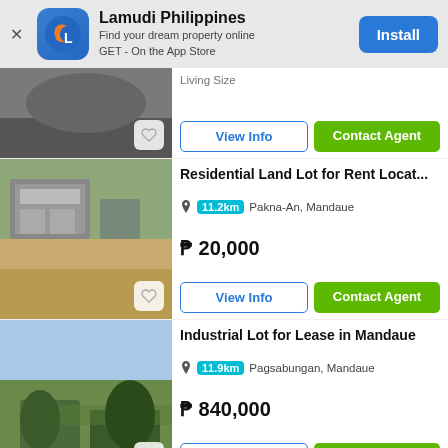[Figure (screenshot): Lamudi Philippines app install banner with logo, tagline, and Install button]
Living Size
View Info | Contact Agent
Residential Land Lot for Rent Locat...
11.2km Pakna-An, Mandaue
₱ 20,000
View Info | Contact Agent
Industrial Lot for Lease in Mandaue
11.9km Pagsabungan, Mandaue
₱ 840,000
View Info | Contact Agent
2,056 square meter Commercial Lo...